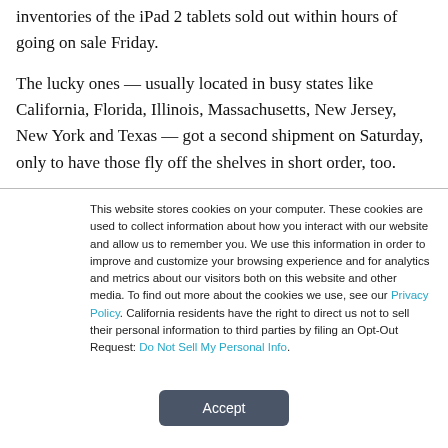Apple Stores nationwide told the same tale: their respective inventories of the iPad 2 tablets sold out within hours of going on sale Friday.
The lucky ones — usually located in busy states like California, Florida, Illinois, Massachusetts, New Jersey, New York and Texas — got a second shipment on Saturday, only to have those fly off the shelves in short order, too.
This website stores cookies on your computer. These cookies are used to collect information about how you interact with our website and allow us to remember you. We use this information in order to improve and customize your browsing experience and for analytics and metrics about our visitors both on this website and other media. To find out more about the cookies we use, see our Privacy Policy. California residents have the right to direct us not to sell their personal information to third parties by filing an Opt-Out Request: Do Not Sell My Personal Info.
Accept